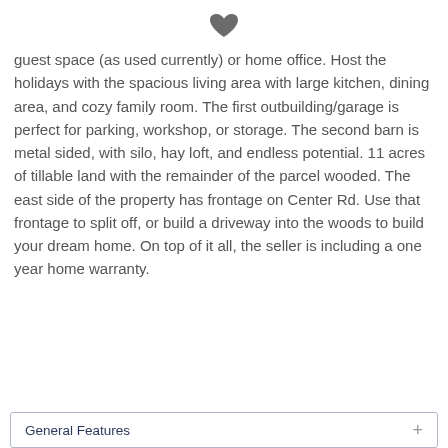[Figure (other): Dark gray filled heart icon centered at top of page]
guest space (as used currently) or home office. Host the holidays with the spacious living area with large kitchen, dining area, and cozy family room. The first outbuilding/garage is perfect for parking, workshop, or storage. The second barn is metal sided, with silo, hay loft, and endless potential. 11 acres of tillable land with the remainder of the parcel wooded. The east side of the property has frontage on Center Rd. Use that frontage to split off, or build a driveway into the woods to build your dream home. On top of it all, the seller is including a one year home warranty.
General Features